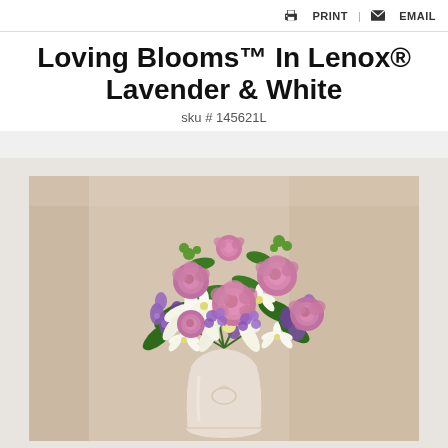PRINT  EMAIL
Loving Blooms™ In Lenox® Lavender & White
sku # 145621L
[Figure (photo): A lush floral bouquet arrangement in a cream Lenox vase featuring pink roses, white lilies, white alstroemeria, purple stock flowers, and green accents against a soft neutral background.]